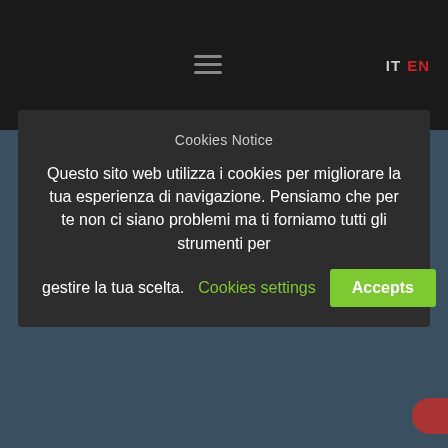IT  EN
Cookies Notice
Questo sito web utilizza i cookies per migliorare la tua esperienza di navigazione. Pensiamo che per te non ci siano problemi ma ti forniamo tutti gli strumenti per gestire la tua scelta.
Cookies settings  Accepts